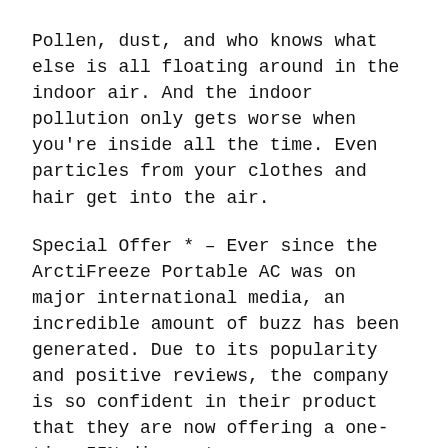Pollen, dust, and who knows what else is all floating around in the indoor air. And the indoor pollution only gets worse when you're inside all the time. Even particles from your clothes and hair get into the air.
Special Offer * – Ever since the ArctiFreeze Portable AC was on major international media, an incredible amount of buzz has been generated. Due to its popularity and positive reviews, the company is so confident in their product that they are now offering a one-time 55% discount.
Customer Service Contact Info:
For questions regarding order placement, processing, and delivery please contact customer service department.